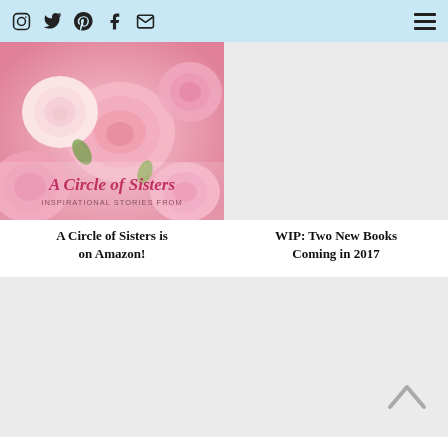Social icons: Instagram, Twitter, Pinterest, Facebook, Email | Hamburger menu
[Figure (photo): A Circle of Sisters book cover with pink roses. Text overlaid: 'A Circle of Sisters INSPIRATIONAL STORIES FROM']
A Circle of Sisters is on Amazon!
[Figure (photo): Gray placeholder image for second article]
WIP: Two New Books Coming in 2017
[Figure (photo): Gray placeholder image for third article]
[Figure (photo): Gray placeholder image for fourth article with back-to-top chevron]